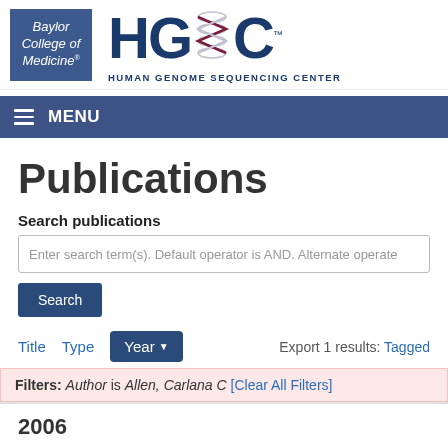[Figure (logo): Baylor College of Medicine logo (blue square) and HGSC Human Genome Sequencing Center logo with DNA helix graphic]
MENU
Publications
Search publications
Enter search term(s). Default operator is AND. Alternate operate
Search
Title   Type   Year   Export 1 results: Tagged
Filters: Author is Allen, Carlana C [Clear All Filters]
2006